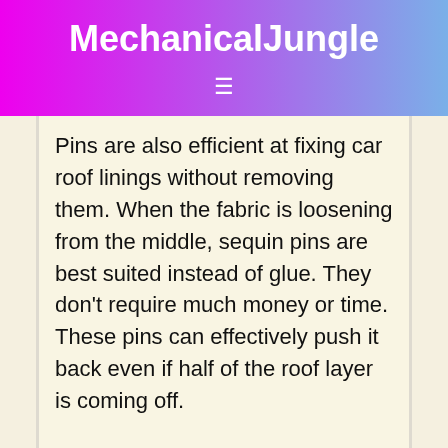MechanicalJungle
Pins are also efficient at fixing car roof linings without removing them. When the fabric is loosening from the middle, sequin pins are best suited instead of glue. They don't require much money or time. These pins can effectively push it back even if half of the roof layer is coming off.